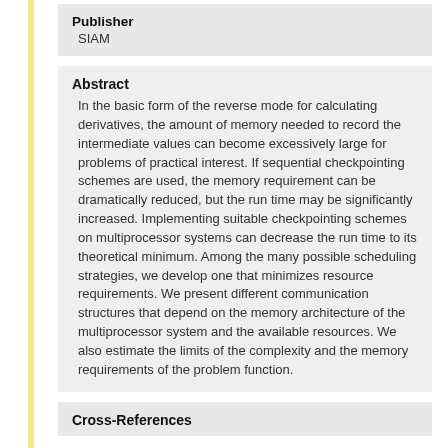Publisher
SIAM
Abstract
In the basic form of the reverse mode for calculating derivatives, the amount of memory needed to record the intermediate values can become excessively large for problems of practical interest. If sequential checkpointing schemes are used, the memory requirement can be dramatically reduced, but the run time may be significantly increased. Implementing suitable checkpointing schemes on multiprocessor systems can decrease the run time to its theoretical minimum. Among the many possible scheduling strategies, we develop one that minimizes resource requirements. We present different communication structures that depend on the memory architecture of the multiprocessor system and the available resources. We also estimate the limits of the complexity and the memory requirements of the problem function.
Cross-References